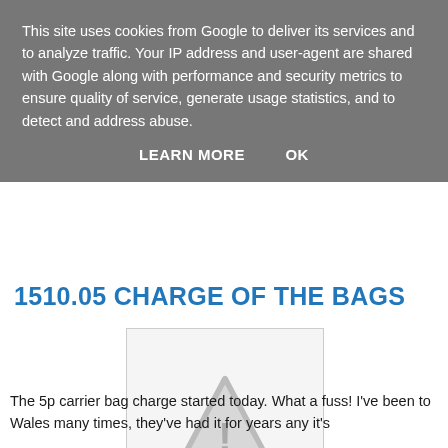This site uses cookies from Google to deliver its services and to analyze traffic. Your IP address and user-agent are shared with Google along with performance and security metrics to ensure quality of service, generate usage statistics, and to detect and address abuse.
LEARN MORE   OK
1510.05 CHARGE OF THE BAGS
[Figure (illustration): Image placeholder with a warning/caution triangle icon (exclamation mark inside triangle) on a light gray background]
The 5p carrier bag charge started today. What a fuss! I've been to Wales many times, they've had it for years any it's